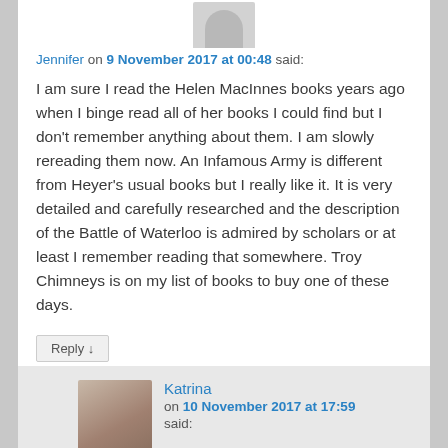[Figure (photo): Jennifer's avatar: grey silhouette placeholder image]
Jennifer on 9 November 2017 at 00:48 said:
I am sure I read the Helen MacInnes books years ago when I binge read all of her books I could find but I don't remember anything about them. I am slowly rereading them now. An Infamous Army is different from Heyer's usual books but I really like it. It is very detailed and carefully researched and the description of the Battle of Waterloo is admired by scholars or at least I remember reading that somewhere. Troy Chimneys is on my list of books to buy one of these days.
Reply ↓
[Figure (photo): Katrina's avatar: photo of a woman]
Katrina on 10 November 2017 at 17:59 said:
Jennifer,
I know I read quite a few MacInnes books